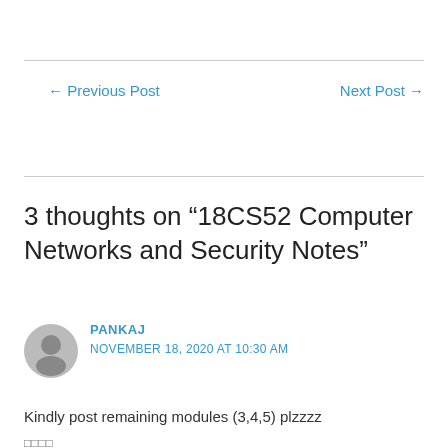← Previous Post
Next Post →
3 thoughts on “18CS52 Computer Networks and Security Notes”
PANKAJ
NOVEMBER 18, 2020 AT 10:30 AM
Kindly post remaining modules (3,4,5) plzzzz